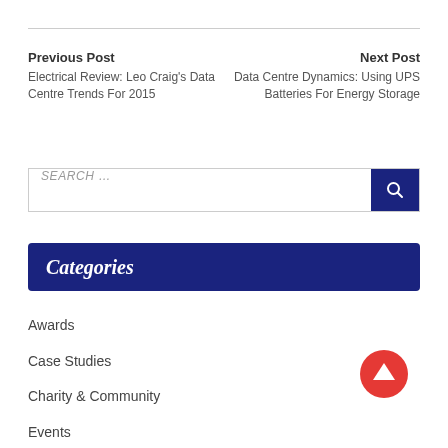Previous Post
Electrical Review: Leo Craig's Data Centre Trends For 2015
Next Post
Data Centre Dynamics: Using UPS Batteries For Energy Storage
SEARCH …
Categories
Awards
Case Studies
Charity & Community
Events
Features